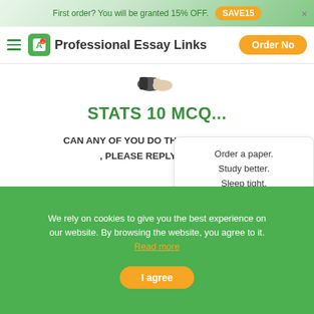First order? You will be granted 15% OFF.  SAVE15  ×
Professional Essay Links  Order Now
[Figure (illustration): Partial illustration of a person at the top of the page]
STATS 10 MCQ...
CAN ANY OF YOU DO THEM WITHIN 40 M , PLEASE REPLY ASAP....
Order a paper. Study better. Sleep tight. Calculate Price!
[Figure (illustration): Orange circle with white calculator icon]
We rely on cookies to give you the best experience on our website. By browsing the website, you agree to it. Read more
I agree